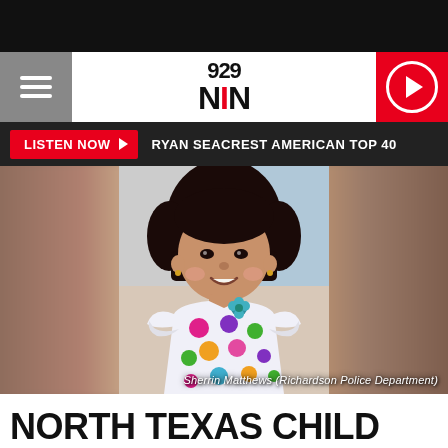[Figure (screenshot): 929 NIN radio station mobile website header with hamburger menu, logo, and play button]
LISTEN NOW ▶  RYAN SEACREST AMERICAN TOP 40
[Figure (photo): Young girl Sherrin Matthews smiling, wearing a colorful polka dot dress. Photo credit: Richardson Police Department]
Sherrin Matthews (Richardson Police Department)
NORTH TEXAS CHILD MISSING